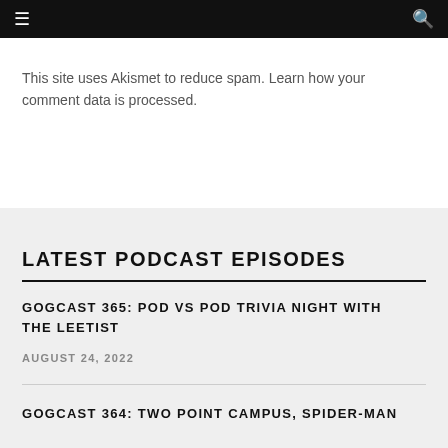☰  🔍
This site uses Akismet to reduce spam. Learn how your comment data is processed.
LATEST PODCAST EPISODES
GOGCAST 365: POD VS POD TRIVIA NIGHT WITH THE LEETIST
AUGUST 24, 2022
GOGCAST 364: TWO POINT CAMPUS, SPIDER-MAN